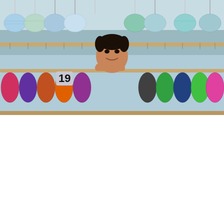FAISALABAD: The District Peace Committee (DPC) meeting was held in the DC Office, which was chaired by Deputy...
PUBLISHED 17 APR, 2021 03:28AM
[Figure (photo): A young man peering through a display rack of colorful face masks hanging on a stand, with surgical masks on top and fabric masks in vibrant colors below.]
PAKISTAN
Pakistan reports over 4000 COVID-19 recoveries in a day